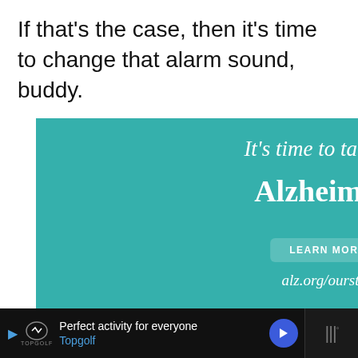If that's the case, then it's time to change that alarm sound, buddy.
[Figure (screenshot): Advertisement for Alzheimer's Association. Teal background with text 'It's time to talk about Alzheimer's.' with a LEARN MORE button, alz.org/ourstories URL, an illustration of two elderly people, and the Alzheimer's Association logo. Also shows a 'What's Next' overlay for '(9 Fixes) Sony TV Red Ligh...' and social action buttons (heart, count 3, share).]
[Figure (screenshot): Bottom advertisement bar for Topgolf: 'Perfect activity for everyone' and 'Topgolf' in blue, with Topgolf logo, play button, arrow button, and a dark right panel with audio bars icon.]